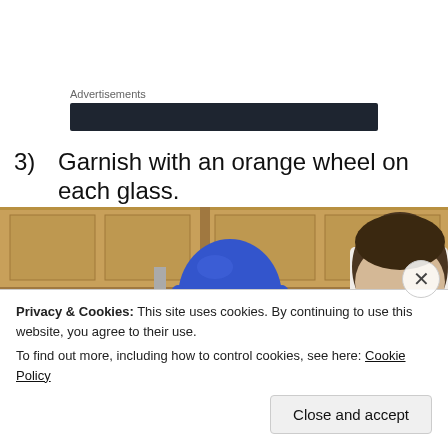Advertisements
[Figure (other): Dark advertisement banner bar]
3)   Garnish with an orange wheel on each glass.
[Figure (photo): Scene from Arrested Development showing Tobias (painted blue) in a kitchen with another character]
Privacy & Cookies: This site uses cookies. By continuing to use this website, you agree to their use.
To find out more, including how to control cookies, see here: Cookie Policy
Close and accept